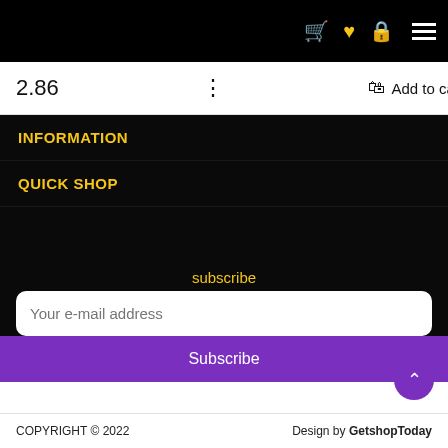Navigation icons: cart, heart, lock, menu
2.86  ⋮  Add to cart
INFORMATION
QUICK SHOP
subscribe
Your e-mail address
Subscribe
COPYRIGHT © 2022    Design by GetshopToday